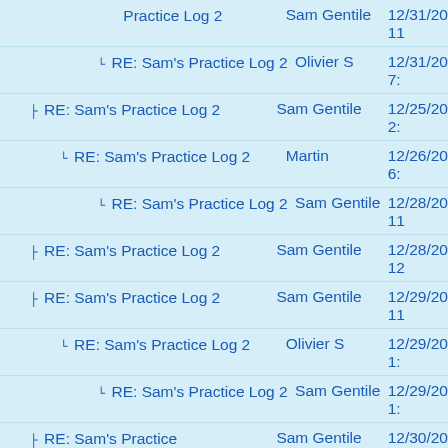Practice Log 2 | Sam Gentile | 12/31/20 11
RE: Sam's Practice Log 2 | Olivier S | 12/31/20 7:
RE: Sam's Practice Log 2 | Sam Gentile | 12/25/20 2:
RE: Sam's Practice Log 2 | Martin | 12/26/20 6:
RE: Sam's Practice Log 2 | Sam Gentile | 12/28/20 11
RE: Sam's Practice Log 2 | Sam Gentile | 12/28/20 12
RE: Sam's Practice Log 2 | Sam Gentile | 12/29/20 11
RE: Sam's Practice Log 2 | Olivier S | 12/29/20 1:
RE: Sam's Practice Log 2 | Sam Gentile | 12/29/20 1:
RE: Sam's Practice Log 2 | Sam Gentile | 12/30/20